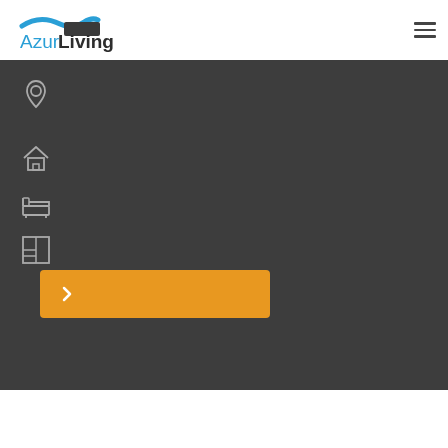[Figure (logo): AzurLiving logo with wave/swoosh graphic in blue and dark colors, text 'Azur' in blue and 'Living' in dark gray/black]
[Figure (illustration): Hamburger menu icon (three horizontal lines) in top right corner]
[Figure (illustration): Dark gray panel with four icons: location pin, house/home, bed, floor plan. Orange button with right arrow chevron at bottom.]